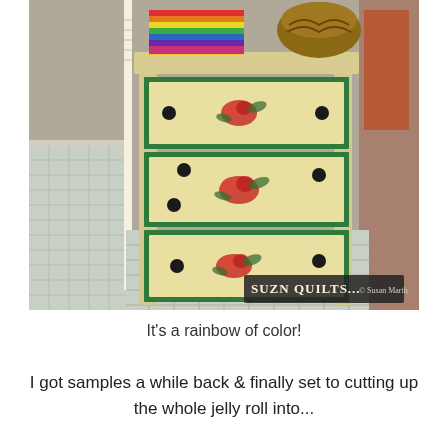[Figure (photo): A vintage-style wooden dresser with three drawers, each drawer painted cream/yellow with green border trim and stenciled red roses. The dresser sits on a quilting cutting mat. On top of the dresser are stacked colorful rainbow-striped fabric and a woven basket. A watermark in the lower right reads 'SUZN QUILTS...© Susan Marth'.]
It's a rainbow of color!
I got samples a while back & finally set to cutting up the whole jelly roll into...